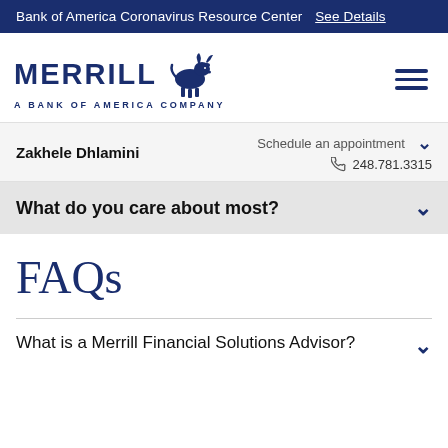Bank of America Coronavirus Resource Center  See Details
[Figure (logo): Merrill Lynch bull logo with text MERRILL A BANK OF AMERICA COMPANY]
Zakhele Dhlamini   Schedule an appointment   248.781.3315
What do you care about most?
FAQs
What is a Merrill Financial Solutions Advisor?